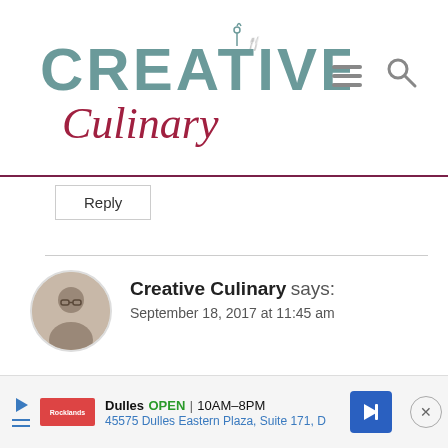Creative Culinary
Reply
Creative Culinary says:
September 18, 2017 at 11:45 am
Yes…do just that; should be great!
Reply
Dulles OPEN | 10AM–8PM
45575 Dulles Eastern Plaza, Suite 171, D